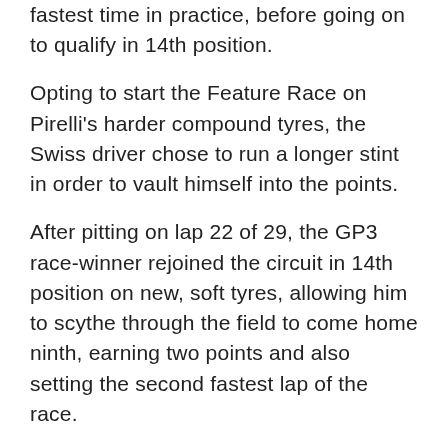fastest time in practice, before going on to qualify in 14th position.
Opting to start the Feature Race on Pirelli's harder compound tyres, the Swiss driver chose to run a longer stint in order to vault himself into the points.
After pitting on lap 22 of 29, the GP3 race-winner rejoined the circuit in 14th position on new, soft tyres, allowing him to scythe through the field to come home ninth, earning two points and also setting the second fastest lap of the race.
“We chose to run to the alternative strategy in race one as we felt it gave us a chance at scoring some points,” the co...